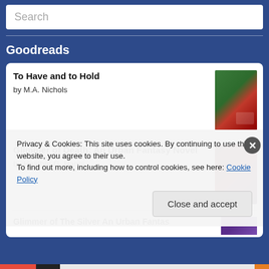Search
Goodreads
To Have and to Hold
by M.A. Nichols
Glimmer of Death: An Urban Fantasy Novel
by Heather G. Harris
Privacy & Cookies: This site uses cookies. By continuing to use this website, you agree to their use.
To find out more, including how to control cookies, see here: Cookie Policy
Close and accept